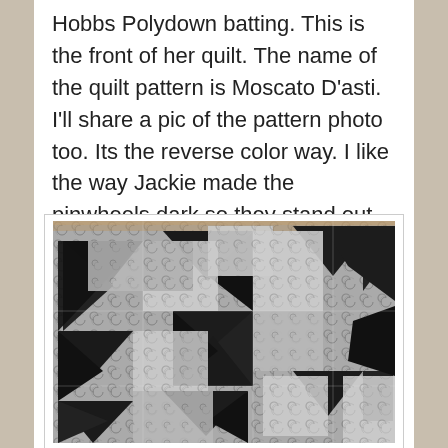Hobbs Polydown batting. This is the front of her quilt. The name of the quilt pattern is Moscato D'asti. I'll share a pic of the pattern photo too. Its the reverse color way. I like the way Jackie made the pinwheels dark so they stand out more.
[Figure (photo): A black and white photograph of a quilt with a pinwheel pattern called Moscato D'asti, showing dark pinwheels against a swirling patterned background fabric.]